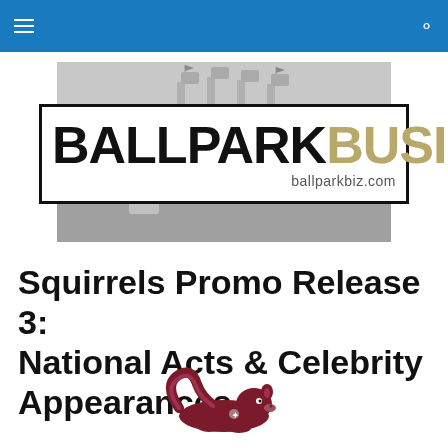Ballpark Business - ballparkbiz.com
[Figure (logo): Ballpark Business logo with stadium photo background. Text reads BALLPARK in black bold and BUSINESS in gold/tan bold, with ballparkbiz.com URL below.]
Squirrels Promo Release 3: National Acts & Celebrity Appearances
[Figure (illustration): Small cartoon/logo of a reclining squirrel mascot in dark red/maroon color]